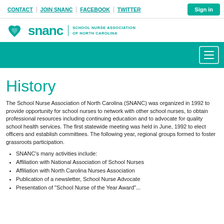CONTACT | JOIN SNANC | FACEBOOK | TWITTER | Sign in
[Figure (logo): SNANC logo with teal heart/hands icon and text 'snanc SCHOOL NURSE ASSOCIATION OF NORTH CAROLINA']
History
The School Nurse Association of North Carolina (SNANC) was organized in 1992 to provide opportunity for school nurses to network with other school nurses, to obtain professional resources including continuing education and to advocate for quality school health services. The first statewide meeting was held in June, 1992 to elect officers and establish committees. The following year, regional groups formed to foster grassroots participation.
SNANC's many activities include:
Affiliation with National Association of School Nurses
Affiliation with North Carolina Nurses Association
Publication of a newsletter, School Nurse Advocate
Presentation of "School Nurse of the Year Award"...